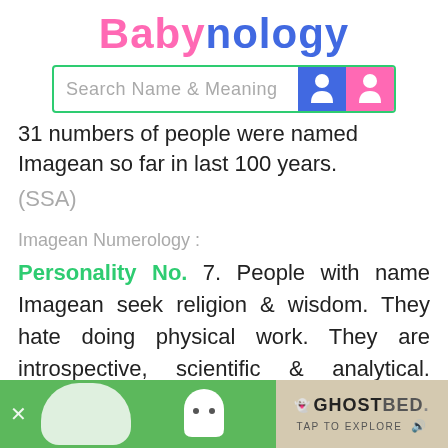Babynology
[Figure (screenshot): Search Name & Meaning search bar with blue boy icon and pink girl icon, green border]
31 numbers of people were named Imagean so far in last 100 years.
(SSA)
Imagean Numerology :
Personality No. 7. People with name Imagean seek religion & wisdom. They hate doing physical work. They are introspective, scientific & analytical. Person with Imagean having 7 as Personality number love nature & peaceful ambiance. They love perfection, teaching &
[Figure (screenshot): Green advertisement banner at bottom with close X button, white ghost figure, and GhostBed advertisement with TAP TO EXPLORE text]